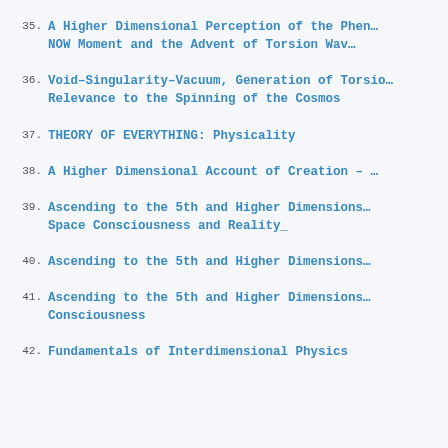35. A Higher Dimensional Perception of the Phenomenology of the NOW Moment and the Advent of Torsion Wav…
36. Void–Singularity–Vacuum, Generation of Torsio… Relevance to the Spinning of the Cosmos
37. THEORY OF EVERYTHING: Physicality
38. A Higher Dimensional Account of Creation – …
39. Ascending to the 5th and Higher Dimensions… Space Consciousness and Reality_
40. Ascending to the 5th and Higher Dimensions…
41. Ascending to the 5th and Higher Dimensions… Consciousness
42. Fundamentals of Interdimensional Physics